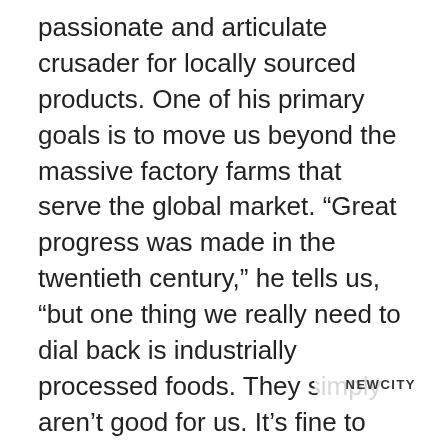passionate and articulate crusader for locally sourced products. One of his primary goals is to move us beyond the massive factory farms that serve the global market. “Great progress was made in the twentieth century,” he tells us, “but one thing we really need to dial back is industrially processed foods. They simply aren’t good for us. It’s fine to want novelty and exotica, but one thing we know is that eating whole foods—whether grains, fruits, vegetables or, yes, animals—is good for you.” In an effort to “rethink this idea of food as a transnational industry,” Fehribach seeks inspiration in old-time recipes, most all from the American South, that leverage the goodness of the local farm—
[Figure (logo): NEWCITY logo in a circular white semi-transparent badge]